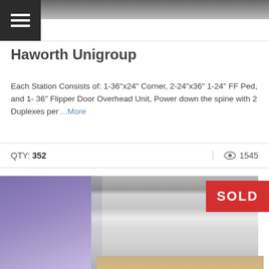[Figure (photo): Top portion of office furniture/cubicle workstation photo, partially visible at top of page]
[Figure (other): Hamburger menu button icon (three horizontal lines) on dark background]
Haworth Unigroup
Each Station Consists of: 1-36"x24" Corner, 2-24"x36" 1-24" FF Ped, and 1- 36" Flipper Door Overhead Unit, Power down the spine with 2 Duplexes per ...More
QTY: 352   1545
[Figure (photo): Photo of stacked office guest chairs with grey fabric upholstery and chrome frames, purple chair visible on left side; SOLD badge in red on upper right corner]